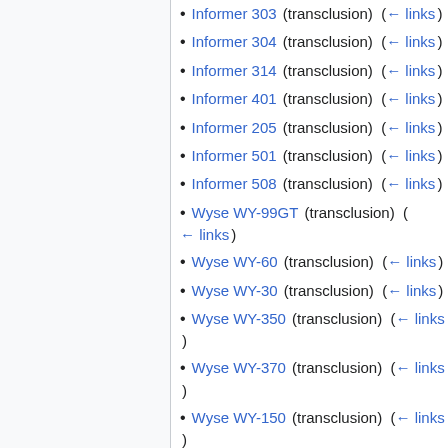Informer 303 (transclusion) (← links)
Informer 304 (transclusion) (← links)
Informer 314 (transclusion) (← links)
Informer 401 (transclusion) (← links)
Informer 205 (transclusion) (← links)
Informer 501 (transclusion) (← links)
Informer 508 (transclusion) (← links)
Wyse WY-99GT (transclusion) (← links)
Wyse WY-60 (transclusion) (← links)
Wyse WY-30 (transclusion) (← links)
Wyse WY-350 (transclusion) (← links)
Wyse WY-370 (transclusion) (← links)
Wyse WY-150 (transclusion) (← links)
Wyse WY-160 (transclusion) (← links)